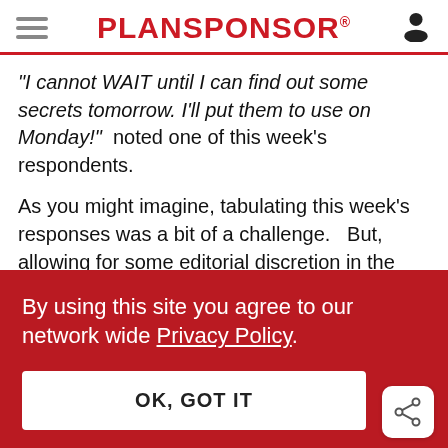PLANSPONSOR
“I cannot WAIT until I can find out some secrets tomorrow. I’ll put them to use on Monday!” noted one of this week’s respondents.
As you might imagine, tabulating this week’s responses was a bit of a challenge.   But, allowing for some editorial discretion in the
By using this site you agree to our network wide Privacy Policy.
OK, GOT IT